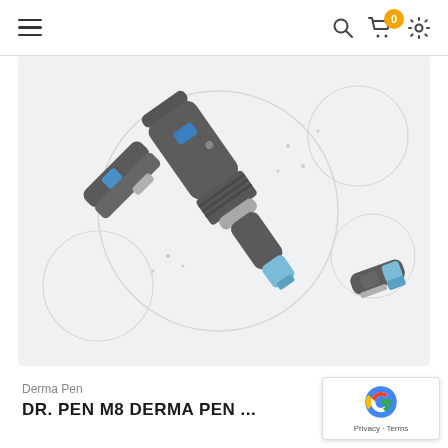Navigation bar with hamburger menu, search, cart (0), and settings icons
[Figure (photo): Product photo of Dr. Pen M8 Derma Pen devices — multiple derma pen units and needle cartridges shown at angles on a light background with circular diagram overlays]
Derma Pen
DR. PEN M8 DERMA PEN ...